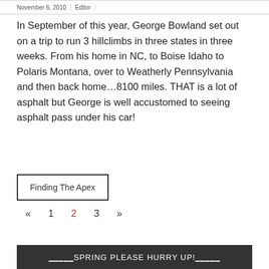November 6, 2010 | Editor |
In September of this year, George Bowland set out on a trip to run 3 hillclimbs in three states in three weeks. From his home in NC, to Boise Idaho to Polaris Montana, over to Weatherly Pennsylvania and then back home…8100 miles. THAT is a lot of asphalt but George is well accustomed to seeing asphalt pass under his car!
READ MORE
Finding The Apex
« 1 2 3 »
SPRING PLEASE HURRY UP!